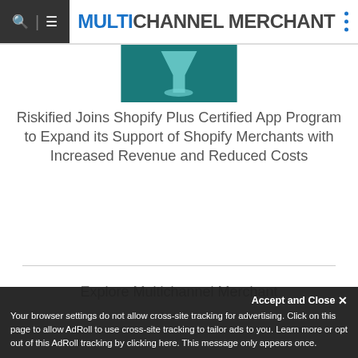MULTICHANNEL MERCHANT
[Figure (illustration): Teal/dark teal background with a light blue martini glass or funnel icon shape centered]
Riskified Joins Shopify Plus Certified App Program to Expand its Support of Shopify Merchants with Increased Revenue and Reduced Costs
Explore Multichannel Merchant
Accept and Close ✕
Your browser settings do not allow cross-site tracking for advertising. Click on this page to allow AdRoll to use cross-site tracking to tailor ads to you. Learn more or opt out of this AdRoll tracking by clicking here. This message only appears once.